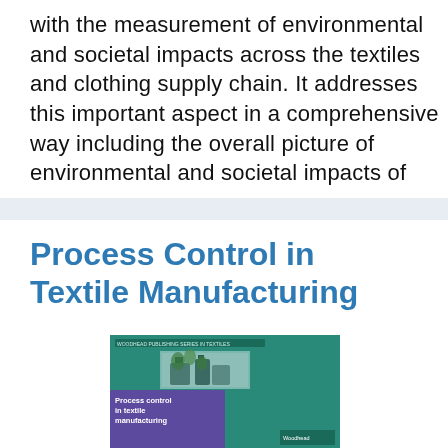with the measurement of environmental and societal impacts across the textiles and clothing supply chain. It addresses this important aspect in a comprehensive way including the overall picture of environmental and societal impacts of
Process Control in Textile Manufacturing
[Figure (illustration): Book cover of 'Process control in textile manufacturing' showing a teal and purple design with a photograph of textile machinery inside]